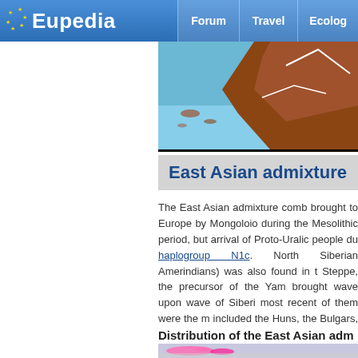Eupedia | Forum | Travel | Ecolog...
[Figure (map): Partial top map strip showing a stylized geographic map with brown land masses and blue ocean, with white lines indicating borders or routes.]
East Asian admixture
The East Asian admixture comb... brought to Europe by Mongoloio... during the Mesolithic period, but... arrival of Proto-Uralic people du... haplogroup N1c. North Siberian... Amerindians) was also found in t... Steppe, the precursor of the Yam... brought wave upon wave of Siberi... most recent of them were the m... included the Huns, the Bulgars, th...
Distribution of the East Asian adm...
[Figure (map): Partial bottom map strip showing a geographic distribution map with magenta/pink color regions indicating East Asian admixture distribution.]